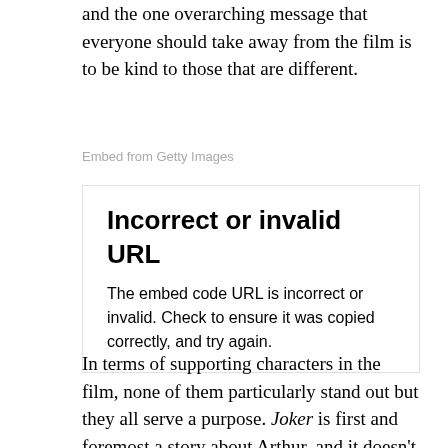and the one overarching message that everyone should take away from the film is to be kind to those that are different.
Embed from Getty Images
Incorrect or invalid URL
The embed code URL is incorrect or invalid. Check to ensure it was copied correctly, and try again.
In terms of supporting characters in the film, none of them particularly stand out but they all serve a purpose. Joker is first and foremost a story about Arthur, and it doesn't try to develop many